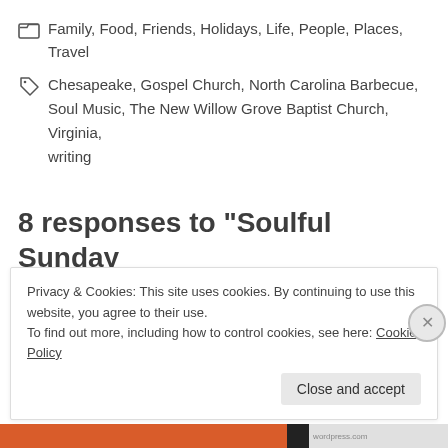Family, Food, Friends, Holidays, Life, People, Places, Travel
Chesapeake, Gospel Church, North Carolina Barbecue, Soul Music, The New Willow Grove Baptist Church, Virginia, writing
8 responses to “Soulful Sunday at the Gospel Church.”
Privacy & Cookies: This site uses cookies. By continuing to use this website, you agree to their use.
To find out more, including how to control cookies, see here: Cookie Policy